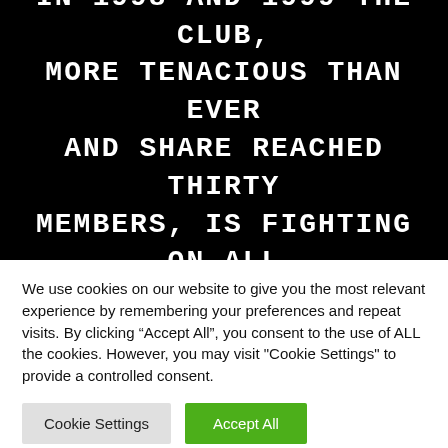THAN UNLIVABLE UNMANAGEABLE. IN 1998 AND 1999 THE CLUB, MORE TENACIOUS THAN EVER AND SHARE REACHED THIRTY MEMBERS, IS FIGHTING ON ALL FRONTS TO BRING BACK THE
We use cookies on our website to give you the most relevant experience by remembering your preferences and repeat visits. By clicking “Accept All”, you consent to the use of ALL the cookies. However, you may visit "Cookie Settings" to provide a controlled consent.
Cookie Settings | Accept All